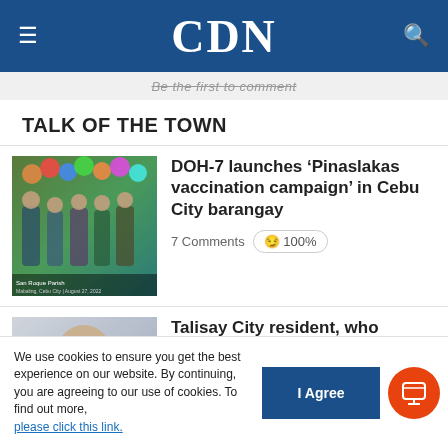CDN
Be the first to comment
TALK OF THE TOWN
[Figure (photo): Group photo at City of Cebu barangay vaccination event with colorful balloons and people in masks]
DOH-7 launches ‘Pinaslakas vaccination campaign’ in Cebu City barangay
7 Comments 😏 100%
[Figure (photo): Man in military uniform wearing white face mask]
Talisay City resident, who posted unverified report online, to be charged – cop
We use cookies to ensure you get the best experience on our website. By continuing, you are agreeing to our use of cookies. To find out more, please click this link.
I Agree